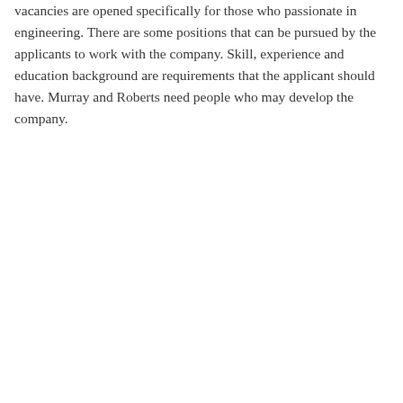vacancies are opened specifically for those who passionate in engineering. There are some positions that can be pursued by the applicants to work with the company. Skill, experience and education background are requirements that the applicant should have. Murray and Roberts need people who may develop the company.